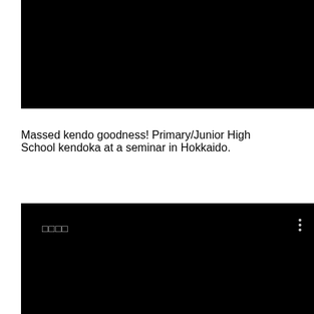[Figure (screenshot): Black video thumbnail with no visible content]
Massed kendo goodness! Primary/Junior High School kendoka at a seminar in Hokkaido.
[Figure (screenshot): Black video thumbnail with Japanese text title and vertical three-dot menu icon]